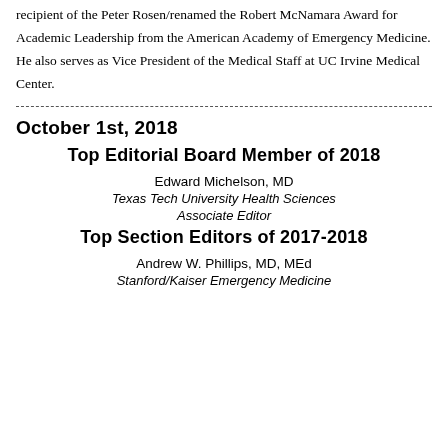recipient of the Peter Rosen/renamed the Robert McNamara Award for Academic Leadership from the American Academy of Emergency Medicine. He also serves as Vice President of the Medical Staff at UC Irvine Medical Center.
October 1st, 2018
Top Editorial Board Member of 2018
Edward Michelson, MD
Texas Tech University Health Sciences
Associate Editor
Top Section Editors of 2017-2018
Andrew W. Phillips, MD, MEd
Stanford/Kaiser Emergency Medicine